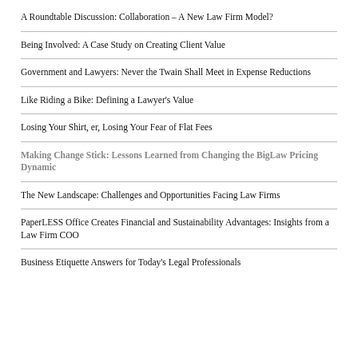A Roundtable Discussion: Collaboration – A New Law Firm Model?
Being Involved: A Case Study on Creating Client Value
Government and Lawyers: Never the Twain Shall Meet in Expense Reductions
Like Riding a Bike: Defining a Lawyer's Value
Losing Your Shirt, er, Losing Your Fear of Flat Fees
Making Change Stick: Lessons Learned from Changing the BigLaw Pricing Dynamic
The New Landscape: Challenges and Opportunities Facing Law Firms
PaperLESS Office Creates Financial and Sustainability Advantages: Insights from a Law Firm COO
Business Etiquette Answers for Today's Legal Professionals